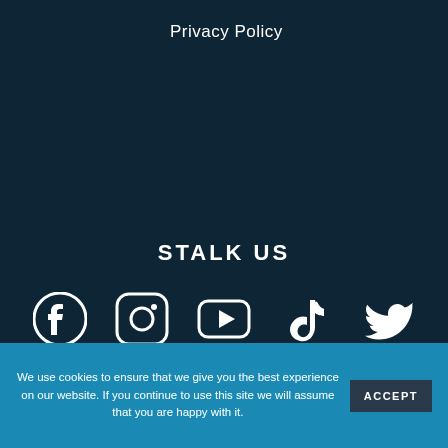Privacy Policy
STALK US
[Figure (illustration): Row of social media icons: Facebook, Instagram, YouTube, TikTok, Twitter, and LinkedIn]
ALL MATERIAL IS INTENDED FOR THE PURPOSES OF
We use cookies to ensure that we give you the best experience on our website. If you continue to use this site we will assume that you are happy with it.
ACCEPT